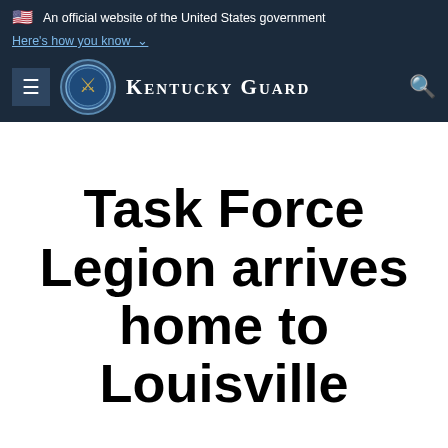An official website of the United States government
Here's how you know
[Figure (logo): Kentucky Guard navigation bar with menu button, circular seal logo, and site title KENTUCKY GUARD with search icon]
Task Force Legion arrives home to Louisville